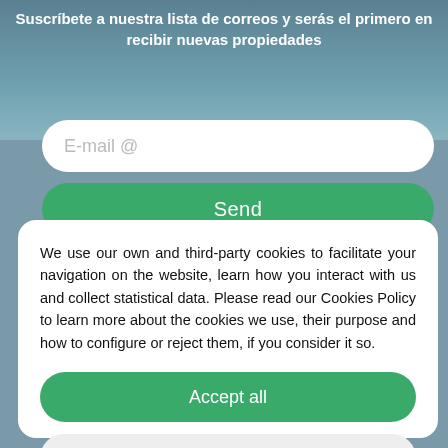Suscríbete a nuestra lista de correos y serás el primero en recibir nuevas propiedades
[Figure (screenshot): Email input field with placeholder 'E-mail @' on blurred background]
[Figure (screenshot): Green 'Send' button]
We use our own and third-party cookies to facilitate your navigation on the website, learn how you interact with us and collect statistical data. Please read our Cookies Policy to learn more about the cookies we use, their purpose and how to configure or reject them, if you consider it so.
[Figure (screenshot): Green 'Accept all' button]
[Figure (screenshot): Grey 'Manage Cookies' button]
[Figure (screenshot): Grey 'Reject' button]
Rentar